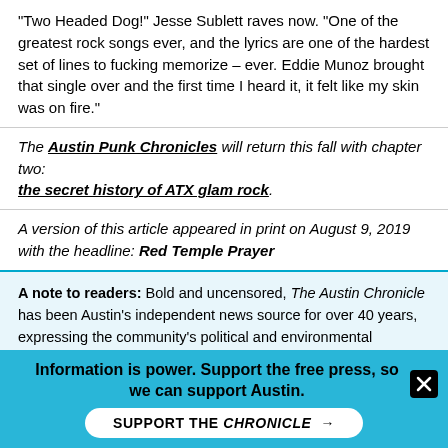"Two Headed Dog!" Jesse Sublett raves now. "One of the greatest rock songs ever, and the lyrics are one of the hardest set of lines to fucking memorize – ever. Eddie Munoz brought that single over and the first time I heard it, it felt like my skin was on fire."
The Austin Punk Chronicles will return this fall with chapter two: the secret history of ATX glam rock.
A version of this article appeared in print on August 9, 2019 with the headline: Red Temple Prayer
A note to readers: Bold and uncensored, The Austin Chronicle has been Austin's independent news source for over 40 years, expressing the community's political and environmental concerns and supporting its active cultural scene. Now more than ever, we need your support to continue supplying Austin with independent,
Information is power. Support the free press, so we can support Austin. SUPPORT THE CHRONICLE →